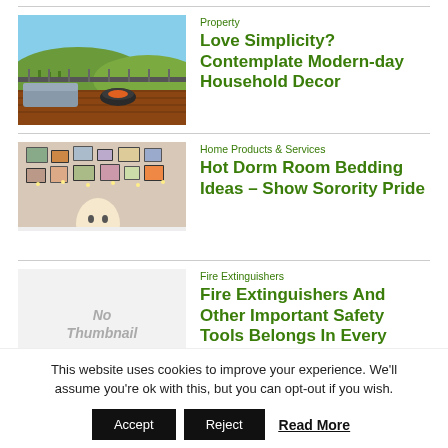[Figure (photo): Outdoor deck with furniture and vineyard view]
Property
Love Simplicity? Contemplate Modern-day Household Decor
[Figure (photo): Dorm room with wall collage and fairy lights]
Home Products & Services
Hot Dorm Room Bedding Ideas – Show Sorority Pride
[Figure (other): No Thumbnail placeholder image]
Fire Extinguishers
Fire Extinguishers And Other Important Safety Tools Belongs In Every
This website uses cookies to improve your experience. We'll assume you're ok with this, but you can opt-out if you wish.